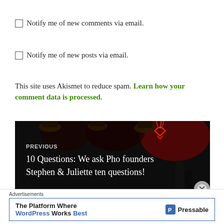Notify me of new comments via email.
Notify me of new posts via email.
This site uses Akismet to reduce spam. Learn how your comment data is processed.
[Figure (photo): Dark restaurant interior with neon pho sign and pendant lights, navigation block for previous post]
PREVIOUS
10 Questions: We ask Pho founders Stephen & Juliette ten questions!
Advertisements
The Platform Where WordPress Works Best — Pressable